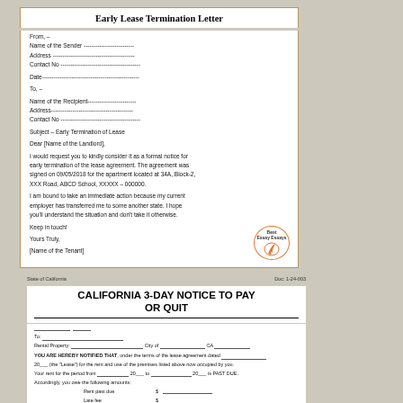Early Lease Termination Letter
From, –
Name of the Sender --------------------------
Address ------------------------------------------
Contact No -----------------------------------------

Date--------------------------------------------------

To, –

Name of the Recipient-------------------------
Address------------------------------------------
Contact No -----------------------------------------

Subject – Early Termination of Lease

Dear [Name of the Landlord],

I would request you to kindly consider it as a formal notice for early termination of the lease agreement. The agreement was signed on 09/05/2018 for the apartment located at 34A, Block-2, XXX Road, ABCD School, XXXXX – 000000.

I am bound to take an immediate action because my current employer has transferred me to some another state. I hope you'll understand the situation and don't take it otherwise.

Keep in touch!

Yours Truly,

[Name of the Tenant]
State of California
Doc: 1-24-003
CALIFORNIA 3-DAY NOTICE TO PAY OR QUIT
YOU ARE HEREBY NOTIFIED THAT, under the terms of the lease agreement dated ___ 20___ (the "Lease") for the rent and use of the premises listed above now occupied by you.
Your rent for the period from ________ 20___ to ____________ 20___ is PAST DUE. Accordingly, you owe the following amounts:
Rent past due  $___________
Late fee  $___________